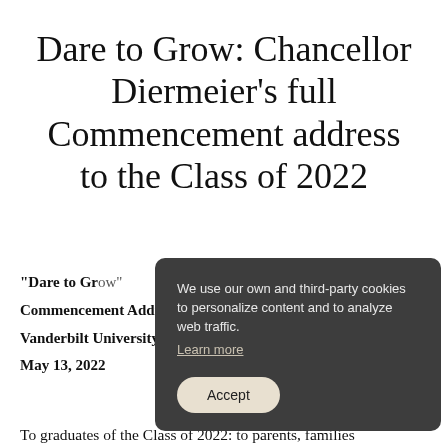Dare to Grow: Chancellor Diermeier's full Commencement address to the Class of 2022
"Dare to Grow" Commencement Address by Chancellor Daniel Diermeier
Vanderbilt University
May 13, 2022
[Figure (screenshot): Cookie consent overlay dialog with dark background showing text: 'We use our own and third-party cookies to personalize content and to analyze web traffic. Learn more' and an Accept button.]
To graduates of the Class of 2022: to parents, families